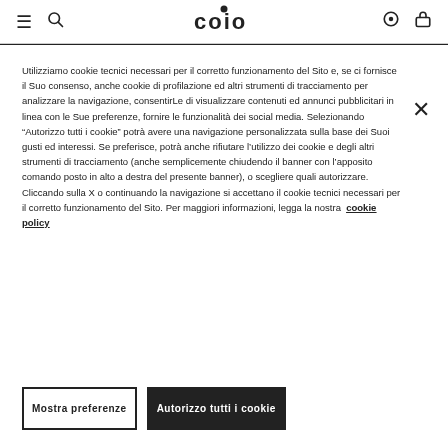≡  🔍  coio  ◎  🛍
Utilizziamo cookie tecnici necessari per il corretto funzionamento del Sito e, se ci fornisce il Suo consenso, anche cookie di profilazione ed altri strumenti di tracciamento per analizzare la navigazione, consentirLe di visualizzare contenuti ed annunci pubblicitari in linea con le Sue preferenze, fornire le funzionalità dei social media. Selezionando "Autorizzo tutti i cookie" potrà avere una navigazione personalizzata sulla base dei Suoi gusti ed interessi. Se preferisce, potrà anche rifiutare l'utilizzo dei cookie e degli altri strumenti di tracciamento (anche semplicemente chiudendo il banner con l'apposito comando posto in alto a destra del presente banner), o scegliere quali autorizzare. Cliccando sulla X o continuando la navigazione si accettano il cookie tecnici necessari per il corretto funzionamento del Sito. Per maggiori informazioni, legga la nostra cookie policy
Mostra preferenze
Autorizzo tutti i cookie